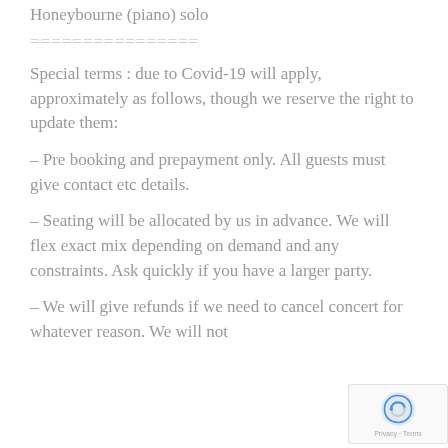Honeybourne (piano) solo
================
Special terms : due to Covid-19 will apply, approximately as follows, though we reserve the right to update them:
– Pre booking and prepayment only. All guests must give contact etc details.
– Seating will be allocated by us in advance. We will flex exact mix depending on demand and any constraints. Ask quickly if you have a larger party.
– We will give refunds if we need to cancel concert for whatever reason. We will not